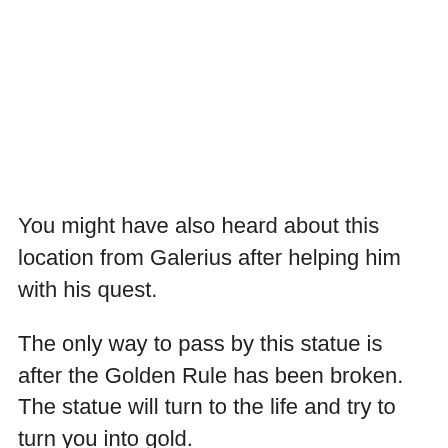You might have also heard about this location from Galerius after helping him with his quest.
The only way to pass by this statue is after the Golden Rule has been broken. The statue will turn to the life and try to turn you into gold.
You will have to make her move towards you, to try and kill you. After she moves a little, you can dodge